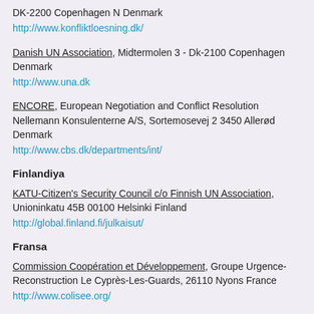DK-2200 Copenhagen N Denmark
http://www.konfliktloesning.dk/
Danish UN Association, Midtermolen 3 - Dk-2100 Copenhagen Denmark
http://www.una.dk
ENCORE, European Negotiation and Conflict Resolution Nellemann Konsulenterne A/S, Sortemosevej 2 3450 Allerød Denmark
http://www.cbs.dk/departments/int/
Finlandiya
KATU-Citizen's Security Council c/o Finnish UN Association, Unioninkatu 45B 00100 Helsinki Finland
http://global.finland.fi/julkaisut/
Fransa
Commission Coopération et Développement, Groupe Urgence-Reconstruction Le Cyprès-Les-Guards, 26110 Nyons France
http://www.colisee.org/
Coordination Sud, 14 Passage Dubail Paris 75010 France